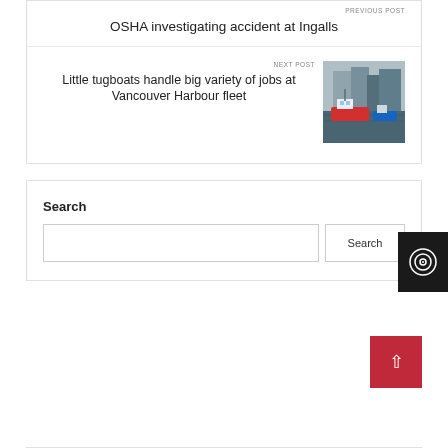OSHA investigating accident at Ingalls
NEXT POST
Little tugboats handle big variety of jobs at Vancouver Harbour fleet
[Figure (photo): Photo of tugboats at Vancouver Harbour with industrial buildings in background]
[Figure (other): Black widget with circular logo icon]
Search
Search input field and Search button
[Figure (other): Red scroll-to-top button with upward arrow]